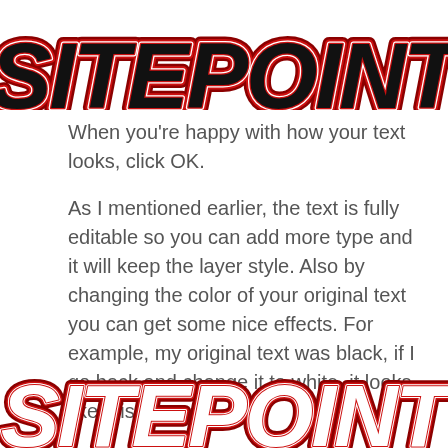[Figure (logo): SitePoint logo text in large retro/vintage style with red and black layered 3D effect, partially cropped at top]
When you’re happy with how your text looks, click OK.
As I mentioned earlier, the text is fully editable so you can add more type and it will keep the layer style. Also by changing the color of your original text you can get some nice effects. For example, my original text was black, if I go back and change it to white, it looks like this.
[Figure (logo): SitePoint logo text in retro/vintage style with red outline and black stroke, white fill, partially visible at bottom of page]